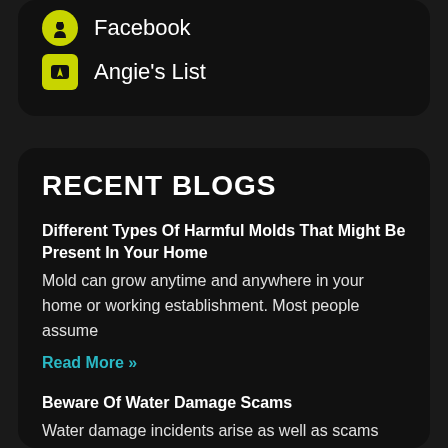Facebook
Angie's List
RECENT BLOGS
Different Types Of Harmful Molds That Might Be Present In Your Home
Mold can grow anytime and anywhere in your home or working establishment. Most people assume
Read More »
Beware Of Water Damage Scams
Water damage incidents arise as well as scams schemed by random contractors that visit properties.